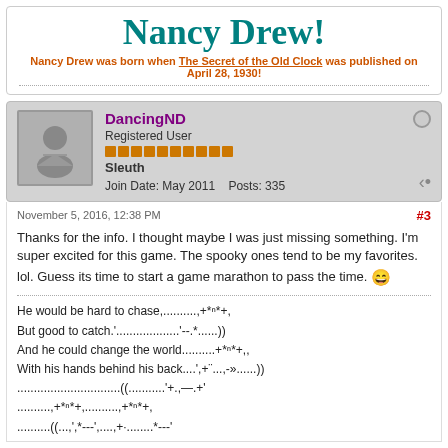Nancy Drew!
Nancy Drew was born when The Secret of the Old Clock was published on April 28, 1930!
DancingND
Registered User
Sleuth
Join Date: May 2011   Posts: 335
November 5, 2016, 12:38 PM  #3
Thanks for the info. I thought maybe I was just missing something. I'm super excited for this game. The spooky ones tend to be my favorites. lol. Guess its time to start a game marathon to pass the time.
He would be hard to chase,..........+*ⁿ*+,
But good to catch.'.....................'--.*......))
And he could change the world..........+*ⁿ*+,,
With his hands behind his back....',+¨...,-»......))
...............................((...........'+.,—,+'
..........,+*ⁿ*+,..........,+*ⁿ*+,
..........((...,',*---',....,+·.......*---'